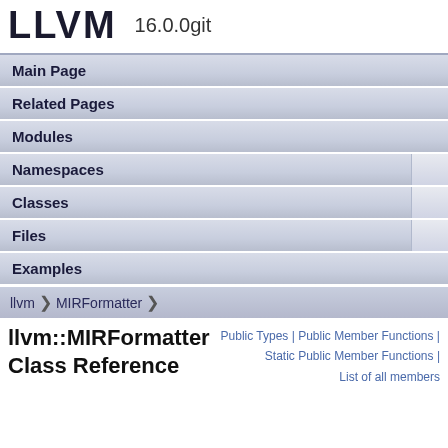LLVM 16.0.0git
Main Page
Related Pages
Modules
Namespaces
Classes
Files
Examples
llvm > MIRFormatter >
Public Types | Public Member Functions | Static Public Member Functions | List of all members
llvm::MIRFormatter Class Reference